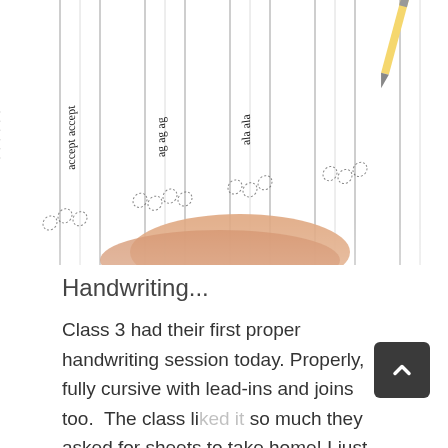[Figure (photo): Close-up photo of cursive handwriting practice sheets showing dotted lines and cursive letter patterns being written, with a child's finger and pencil visible. The sheet shows repeated cursive letter practice rows.]
Handwriting...
Class 3 had their first proper handwriting session today. Properly, fully cursive with lead-ins and joins too.  The class liked it so much they asked for sheets to take home! I just love it when children ask for...